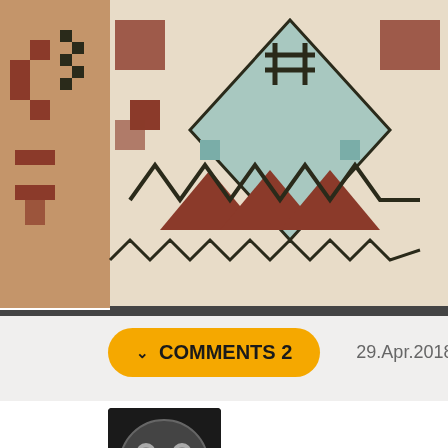[Figure (photo): Close-up photograph of a decorative woven carpet/rug with geometric Native American or Navajo-style patterns in earth tones: red/terracotta, cream/beige, teal/blue, and black geometric shapes including step patterns, zigzags, triangles, and a central diamond with cross/star motif.]
COMMENTS 2
29.Apr.2018 12:22 link
[Figure (photo): User avatar showing a white mouse/rat icon on dark circular background with dark square border]
DeadWhale
illustralie
beauty
mirror
girl
looks
photo
com